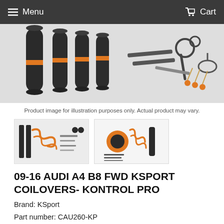Menu   Cart
[Figure (photo): Product photo showing coilover shock absorbers with orange spring perches, wrenches, and accessory hardware laid out on a white background]
Product image for illustration purposes only. Actual product may vary.
[Figure (photo): Thumbnail image of KSport coilover set components with orange and black springs]
[Figure (photo): Thumbnail image of KSport coilover components close-up with orange hardware]
09-16 AUDI A4 B8 FWD KSPORT COILOVERS- KONTROL PRO
Brand: KSport
Part number: CAU260-KP